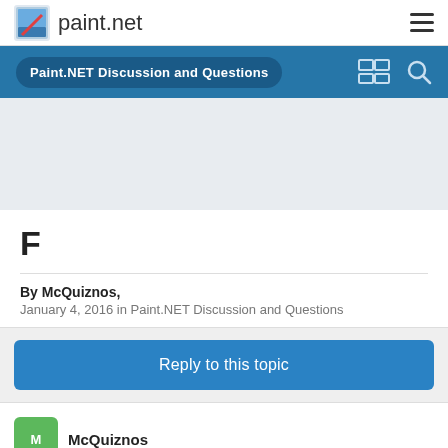paint.net
Paint.NET Discussion and Questions
F
By McQuiznos, January 4, 2016 in Paint.NET Discussion and Questions
Reply to this topic
McQuiznos